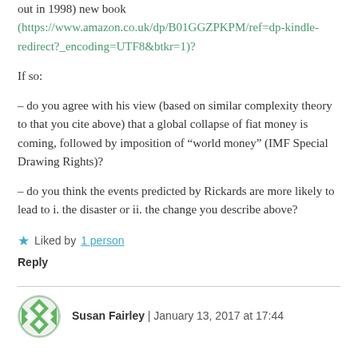out in 1998) new book (https://www.amazon.co.uk/dp/B01GGZPKPM/ref=dp-kindle-redirect?_encoding=UTF8&btkr=1)?
If so:
– do you agree with his view (based on similar complexity theory to that you cite above) that a global collapse of fiat money is coming, followed by imposition of “world money” (IMF Special Drawing Rights)?
– do you think the events predicted by Rickards are more likely to lead to i. the disaster or ii. the change you describe above?
★ Liked by 1 person
Reply
Susan Fairley | January 13, 2017 at 17:44